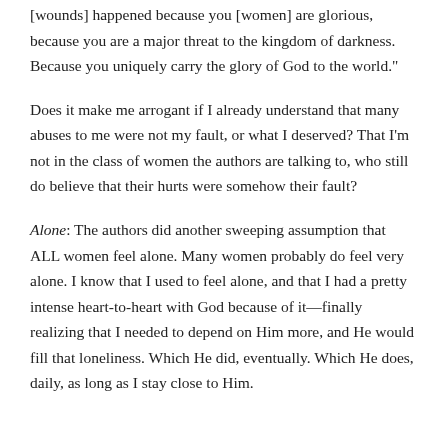[wounds] happened because you [women] are glorious, because you are a major threat to the kingdom of darkness. Because you uniquely carry the glory of God to the world."
Does it make me arrogant if I already understand that many abuses to me were not my fault, or what I deserved? That I'm not in the class of women the authors are talking to, who still do believe that their hurts were somehow their fault?
Alone: The authors did another sweeping assumption that ALL women feel alone. Many women probably do feel very alone. I know that I used to feel alone, and that I had a pretty intense heart-to-heart with God because of it—finally realizing that I needed to depend on Him more, and He would fill that loneliness. Which He did, eventually. Which He does, daily, as long as I stay close to Him.